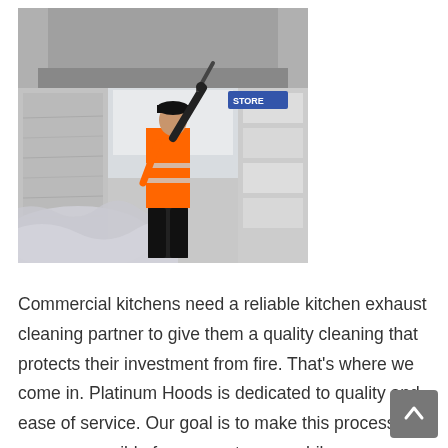[Figure (photo): A worker in an orange safety vest and black clothing cleaning a commercial kitchen exhaust hood using a pressure washer wand, reaching up into the hood. The kitchen shows stainless steel surfaces and equipment covered in protective plastic sheeting.]
Commercial kitchens need a reliable kitchen exhaust cleaning partner to give them a quality cleaning that protects their investment from fire. That's where we come in. Platinum Hoods is dedicated to quality and ease of service. Our goal is to make this process as easy as possible for our customers while